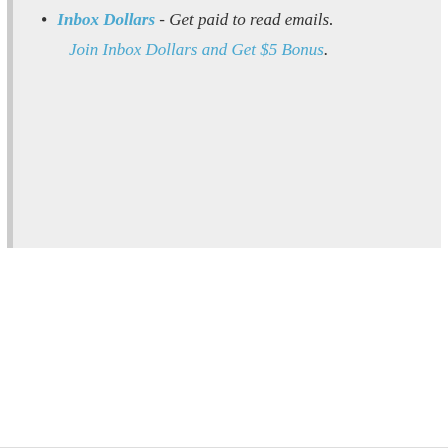Inbox Dollars - Get paid to read emails. Join Inbox Dollars and Get $5 Bonus.